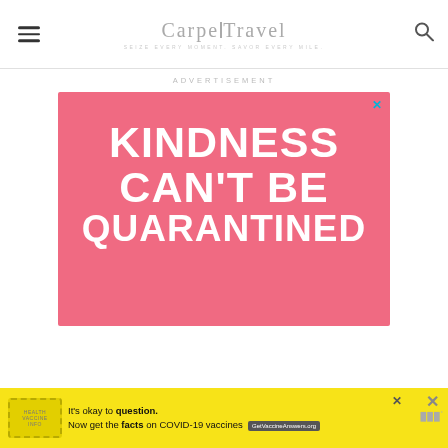Carpe Travel
ADVERTISEMENT
[Figure (illustration): Pink advertisement banner with white handwritten-style text reading KINDNESS CAN'T BE QUARANTINED with a cyan X close button]
[Figure (illustration): Yellow bottom banner ad: It's okay to question. Now get the facts on COVID-19 vaccines. GetVaccineAnswers.org]